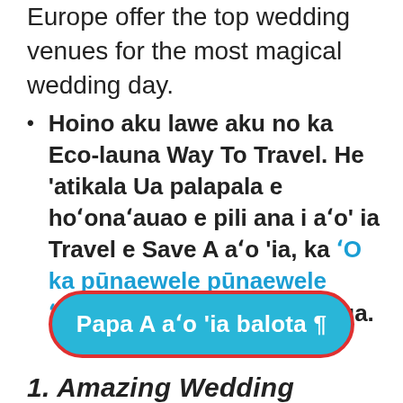Europe offer the top wedding venues for the most magical wedding day.
Hoino aku lawe aku no ka Eco-launa Way To Travel. He 'atikala Ua palapala e hoʻonaʻauao e pili ana i aʻo' ia Travel e Save A aʻo 'ia, ka ʻO ka pūnaewele pūnaewele ʻikena kaʻa kaʻa loa In Honua.
Papa A aʻo 'ia balota ¶
1. Amazing Wedding